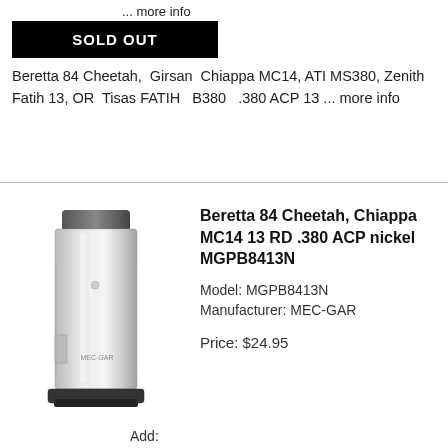... more info
SOLD OUT
Beretta 84 Cheetah,  Girsan  Chiappa MC14, ATI MS380, Zenith Fatih 13, OR  Tisas FATIH   B380   .380 ACP 13 ... more info
[Figure (photo): Nickel-finished pistol magazine for Beretta 84 Cheetah / Chiappa MC14, shown vertically with baseplate at bottom]
Beretta 84 Cheetah, Chiappa MC14 13 RD .380 ACP nickel MGPB8413N
Model: MGPB8413N
Manufacturer: MEC-GAR
Price: $24.95
Add: